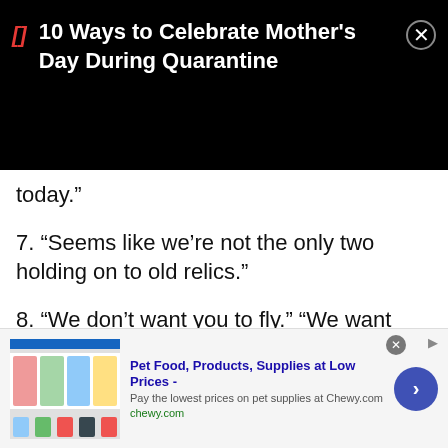10 Ways to Celebrate Mother's Day During Quarantine
today.”
7. “Seems like we’re not the only two holding on to old relics.”
8. “We don’t want you to fly.” “We want you to teach it.”
9. “You got some balls, stick junkey. I’ll give you that.”
10. “You can’t get promoted, you won’t retire, and y…
[Figure (screenshot): Advertisement banner for Chewy.com pet food and supplies]